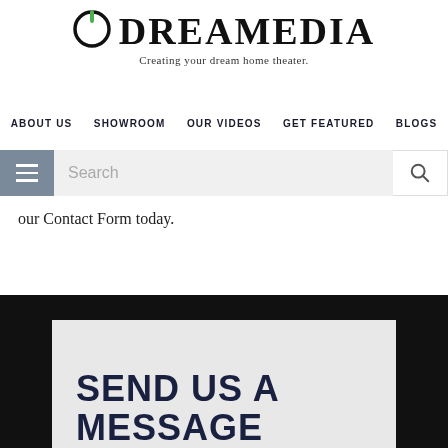[Figure (logo): Dreamedia logo with power button icon on the left and bold serif text DREAMEDIA on the right, with tagline 'Creating your dream home theater.' below]
ABOUT US  SHOWROOM  OUR VIDEOS  GET FEATURED  BLOGS
our Contact Form today.
SEND US A MESSAGE